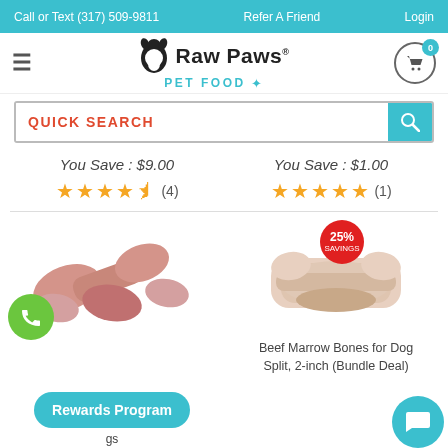Call or Text (317) 509-9811   Refer A Friend   Login
[Figure (logo): Raw Paws Pet Food logo with dog silhouette]
[Figure (screenshot): Quick Search input field with teal search button]
You Save : $9.00
You Save : $1.00
[Figure (infographic): 4.5 star rating (4 reviews)]
[Figure (infographic): 5 star rating (1 review)]
[Figure (photo): Raw beef marrow bones for dogs]
[Figure (photo): Beef Marrow Bones for Dogs Split 2-inch Bundle Deal with 25% savings badge]
Rewards Program
Beef Marrow Bones for Dogs Split, 2-inch (Bundle Deal)